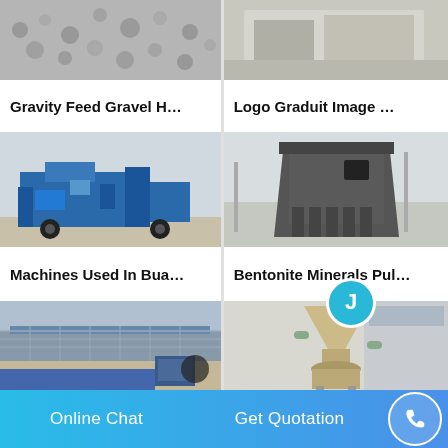[Figure (photo): Gravel or crushed stone aggregate — grey rocks]
Gravity Feed Gravel H…
[Figure (photo): Industrial machinery in beige/cream color]
Logo Graduit Image …
[Figure (photo): Blue heavy mining/crushing machine in industrial yard]
Machines Used In Bua…
[Figure (photo): Large dark metal industrial crusher or pulverizer machine in factory]
Bentonite Minerals Pul…
[Figure (photo): Blue conveyor or vibrating feeder machine on floor]
[Figure (photo): Beige/tan cone crusher machine]
Online Chat
Get Quotation